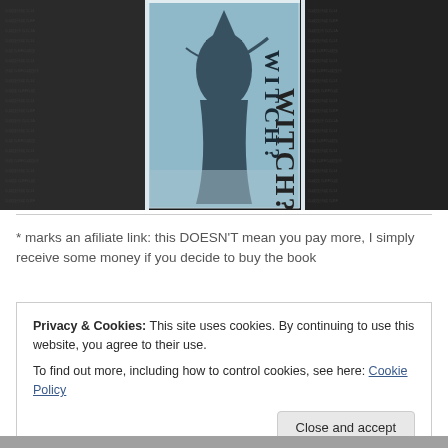[Figure (photo): Photo of books displayed with their spines visible. The center book shows a dark, atmospheric cover with a silhouette of a witch figure and the text 'WITCH?' in large letters. The surrounding books have dark fabric-like covers with small text/character patterns.]
* marks an afiliate link: this DOESN'T mean you pay more, I simply receive some money if you decide to buy the book
Privacy & Cookies: This site uses cookies. By continuing to use this website, you agree to their use.
To find out more, including how to control cookies, see here: Cookie Policy